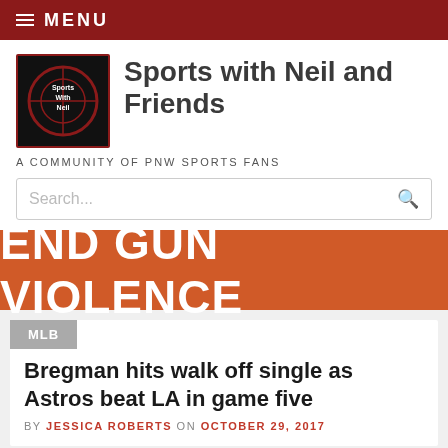≡ MENU
Sports with Neil and Friends
A COMMUNITY OF PNW SPORTS FANS
Search...
[Figure (infographic): Orange banner with bold white text reading END GUN VIOLENCE]
MLB
Bregman hits walk off single as Astros beat LA in game five
BY JESSICA ROBERTS ON OCTOBER 29, 2017